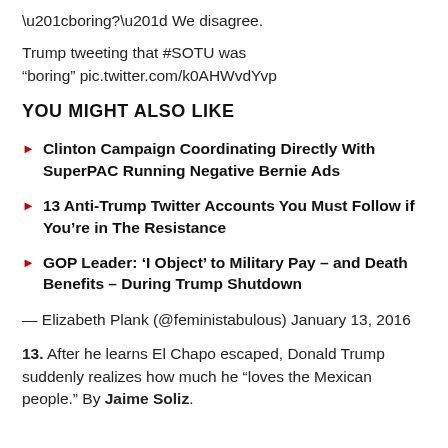“boring?” We disagree.
Trump tweeting that #SOTU was “boring” pic.twitter.com/k0AHWvdYvp
YOU MIGHT ALSO LIKE
Clinton Campaign Coordinating Directly With SuperPAC Running Negative Bernie Ads
13 Anti-Trump Twitter Accounts You Must Follow if You’re in The Resistance
GOP Leader: ‘I Object’ to Military Pay – and Death Benefits – During Trump Shutdown
— Elizabeth Plank (@feministabulous) January 13, 2016
13. After he learns El Chapo escaped, Donald Trump suddenly realizes how much he “loves the Mexican people.” By Jaime Soliz.